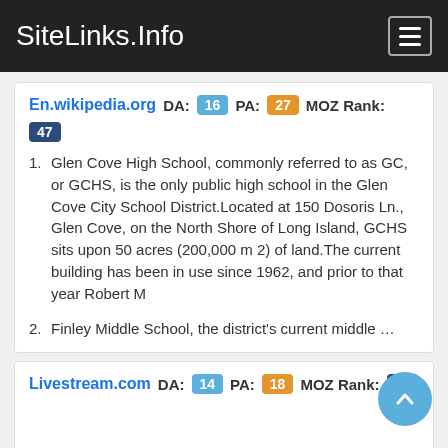SiteLinks.Info
En.wikipedia.org  DA: 16  PA: 27  MOZ Rank: 47
Glen Cove High School, commonly referred to as GC, or GCHS, is the only public high school in the Glen Cove City School District.Located at 150 Dosoris Ln., Glen Cove, on the North Shore of Long Island, GCHS sits upon 50 acres (200,000 m 2) of land.The current building has been in use since 1962, and prior to that year Robert M
Finley Middle School, the district's current middle …
Livestream.com  DA: 14  PA: 18  MOZ Rank: 37